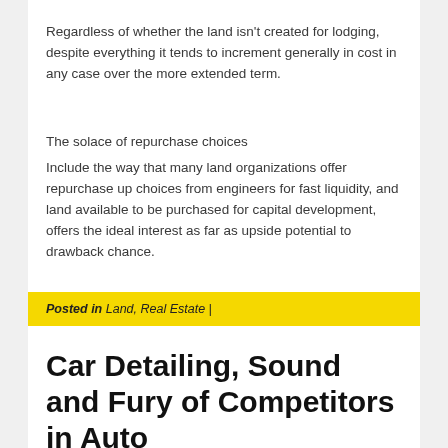Regardless of whether the land isn't created for lodging, despite everything it tends to increment generally in cost in any case over the more extended term.
The solace of repurchase choices
Include the way that many land organizations offer repurchase up choices from engineers for fast liquidity, and land available to be purchased for capital development, offers the ideal interest as far as upside potential to drawback chance.
Posted in Land, Real Estate |
Car Detailing, Sound and Fury of Competitors in Auto